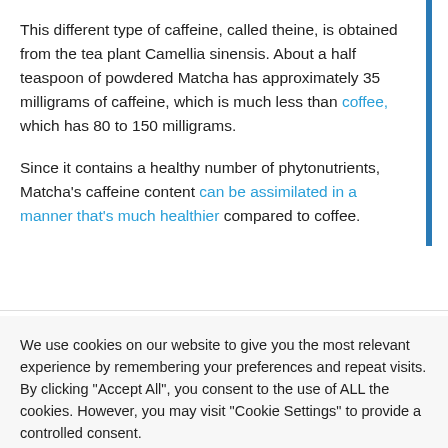This different type of caffeine, called theine, is obtained from the tea plant Camellia sinensis. About a half teaspoon of powdered Matcha has approximately 35 milligrams of caffeine, which is much less than coffee, which has 80 to 150 milligrams.
Since it contains a healthy number of phytonutrients, Matcha's caffeine content can be assimilated in a manner that's much healthier compared to coffee.
We use cookies on our website to give you the most relevant experience by remembering your preferences and repeat visits. By clicking "Accept All", you consent to the use of ALL the cookies. However, you may visit "Cookie Settings" to provide a controlled consent.